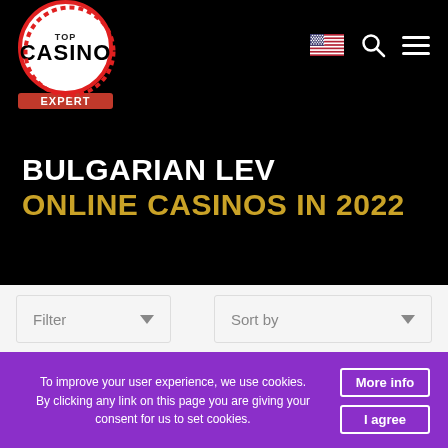[Figure (logo): Top Casino Expert logo — circular badge with red border, white background, 'TOP CASINO' in bold black text, 'EXPERT' in red banner below]
BULGARIAN LEV ONLINE CASINOS IN 2022
Filter ▼
Sort by ▼
To improve your user experience, we use cookies. By clicking any link on this page you are giving your consent for us to set cookies.
More info
I agree